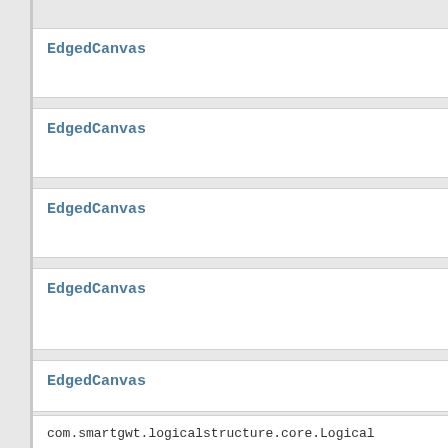EdgedCanvas
EdgedCanvas
EdgedCanvas
EdgedCanvas
EdgedCanvas
com.smartgwt.logicalstructure.core.Logical